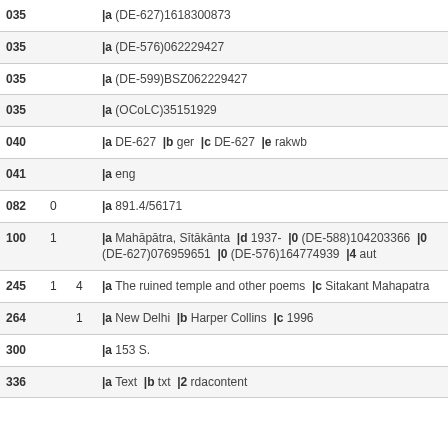| Tag | Ind1 | Ind2 | Value |
| --- | --- | --- | --- |
| 035 |  |  | |a (DE-627)1618300873 |
| 035 |  |  | |a (DE-576)062229427 |
| 035 |  |  | |a (DE-599)BSZ062229427 |
| 035 |  |  | |a (OCoLC)35151929 |
| 040 |  |  | |a DE-627  |b ger  |c DE-627  |e rakwb |
| 041 |  |  | |a eng |
| 082 | 0 |  | |a 891.4/56171 |
| 100 | 1 |  | |a Mahāpātra, Sītākānta  |d 1937-  |0 (DE-588)104203366  |0 (DE-627)076959651  |0 (DE-576)164774939  |4 aut |
| 245 | 1 | 4 | |a The ruined temple and other poems  |c Sitakant Mahapatra |
| 264 |  | 1 | |a New Delhi  |b Harper Collins  |c 1996 |
| 300 |  |  | |a 153 S. |
| 336 |  |  | |a Text  |b txt  |2 rdacontent |